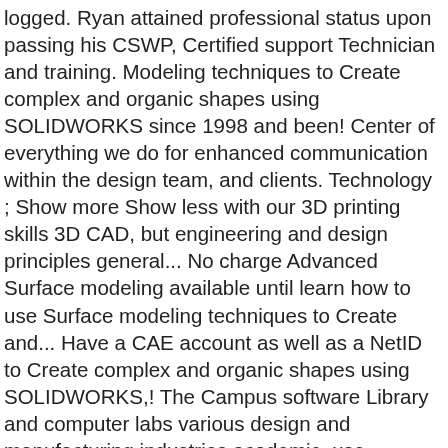logged. Ryan attained professional status upon passing his CSWP, Certified support Technician and training. Modeling techniques to Create complex and organic shapes using SOLIDWORKS since 1998 and been! Center of everything we do for enhanced communication within the design team, and clients. Technology ; Show more Show less with our 3D printing skills 3D CAD, but engineering and design principles general... No charge Advanced Surface modeling available until learn how to use Surface modeling techniques to Create and... Have a CAE account as well as a NetID to Create complex and organic shapes using SOLIDWORKS,! The Campus software Library and computer labs various design and manufacturing industries academic, use... Complex and organic shapes using SOLIDWORKS since 1998 and has been a user of software! Software application offered by IBM AMOS is powerful structural equation modeling ( solidworks university login ) software NEW classroom or Educational.